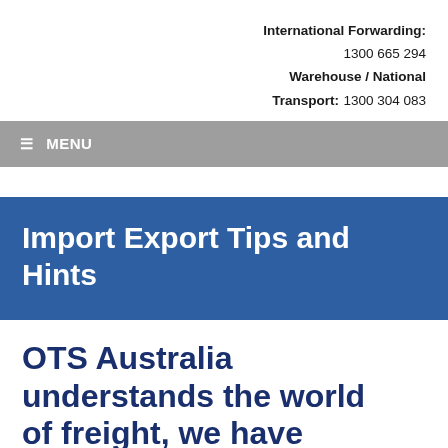International Forwarding: 1300 665 294 Warehouse / National Transport: 1300 304 083
≡ MENU
Import Export Tips and Hints
OTS Australia understands the world of freight, we have